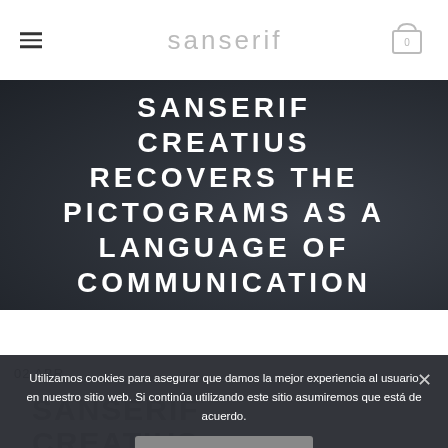sanserif
SANSERIF CREATIUS RECOVERS THE PICTOGRAMS AS A LANGUAGE OF COMMUNICATION
Utilizamos cookies para asegurar que damos la mejor experiencia al usuario en nuestro sitio web. Si continúa utilizando este sitio asumiremos que está de acuerdo.
Estoy de acuerdo
02 ABR SANSERIF CREATIUS RECOVERS THE